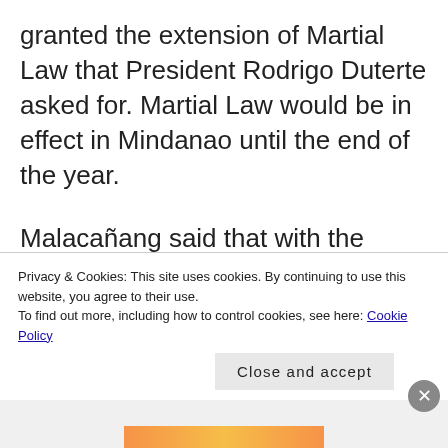granted the extension of Martial Law that President Rodrigo Duterte asked for. Martial Law would be in effect in Mindanao until the end of the year.
Malacañang said that with the extension, the country could now “get on with the job of nation-building and contribute in the attainment of the full promise of Mindanao.” The Duterte
Privacy & Cookies: This site uses cookies. By continuing to use this website, you agree to their use.
To find out more, including how to control cookies, see here: Cookie Policy